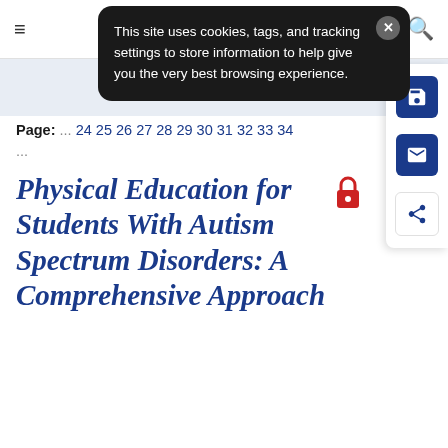[Figure (screenshot): Cookie consent banner overlay on dark background: 'This site uses cookies, tags, and tracking settings to store information to help give you the very best browsing experience.' with X close button]
Page: ... 24 25 26 27 28 29 30 31 32 33 34 ...
Physical Education for Students With Autism Spectrum Disorders: A Comprehensive Approach